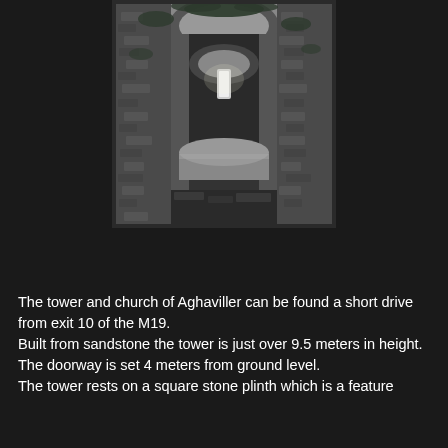[Figure (photo): Black and white photograph showing the interior of the ruined tower and church of Aghaviller, with stone walls, an arched ceiling, a narrow window letting in light, and a large stone cylinder or fallen column in the foreground.]
The tower and church of Aghaviller can be found a short drive from exit 10 of the M19.
Built from sandstone the tower is just over 9.5 meters in height.
The doorway is set 4 meters from ground level.
The tower rests on a square stone plinth which is a feature